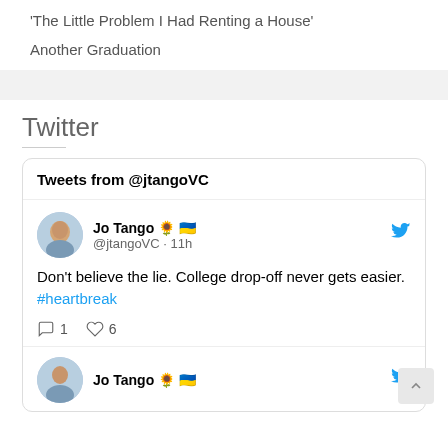'The Little Problem I Had Renting a House'
Another Graduation
Twitter
Tweets from @jtangoVC
Jo Tango 🌻 🇺🇦 @jtangoVC · 11h
Don't believe the lie. College drop-off never gets easier. #heartbreak
1 reply · 6 likes
Jo Tango 🌻 🇺🇦